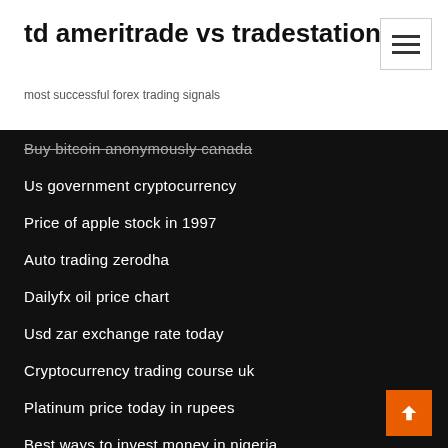td ameritrade vs tradestation
most successful forex trading signals
Buy bitcoin anonymously canada
Us government cryptocurrency
Price of apple stock in 1997
Auto trading zerodha
Dailyfx oil price chart
Usd zar exchange rate today
Cryptocurrency trading course uk
Platinum price today in rupees
Best ways to invest money in nigeria
Best moving average indicator forex
Dgly stock news